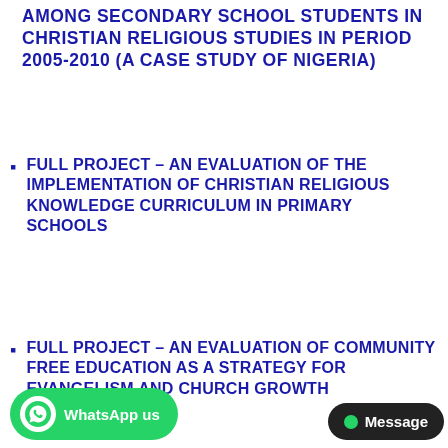AMONG SECONDARY SCHOOL STUDENTS IN CHRISTIAN RELIGIOUS STUDIES IN PERIOD 2005-2010 (A CASE STUDY OF NIGERIA)
FULL PROJECT – AN EVALUATION OF THE IMPLEMENTATION OF CHRISTIAN RELIGIOUS KNOWLEDGE CURRICULUM IN PRIMARY SCHOOLS
FULL PROJECT – AN EVALUATION OF COMMUNITY FREE EDUCATION AS A STRATEGY FOR EVANGELISM AND CHURCH GROWTH